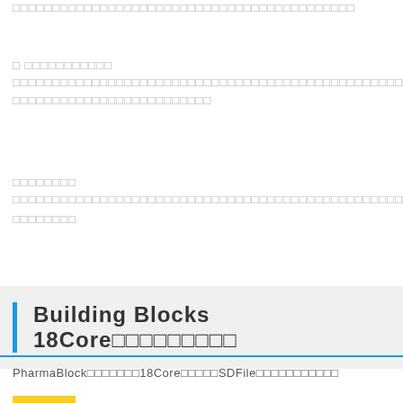□□□□□□□□□□□□□□□□□□□□□□□□□□□□□□□□□□□□□□□□□
□ □□□□□□□□□□□
□□□□□□□□□□□□□□□□□□□□□□□□□□□□□□□□□□□□□□□□□□□□□□□□□□□□□□□□□□□□□□□□□□□□□□□□□□□□□□□□□□□□□□□□□□□□□□□□□□□□□□□□□□□□□□□□□□□□□□□□□□□□□□□□□□□□□□□□□□□□□□□□□□□□□□□□□□□□□□□□□□□□□□□□□□□□□□□□□□□□□□□□□□□□□□□□□□□□□□□□□□□□□□□□□□□□□□□□□□□□□□□□□□□□□□□□□□□□□□□□□□□□□□□□□□□□□□□□□□□□□□□□□□□□□□□□□□□□□□□□□□□□□□□□□□□□□□□□□□□□
□□□□□□□□
□□□□□□□□□□□□□□□□□□□□□□□□□□□□□□□□□□□□□□□□□□□□□□□□□□□□□□□□□□□□□□□□□□□□□□□□□□□□□□□□□□□□□□□□□□□□□□□□□□□□□□□□□□□□□□□□□□□□□□□□□□□□□□□□□□
□□□□□□□□
Building Blocks 18Core□□□□□□□□□
PharmaBlock□□□□□□□18Core□□□□□SDFile□□□□□□□□□□□